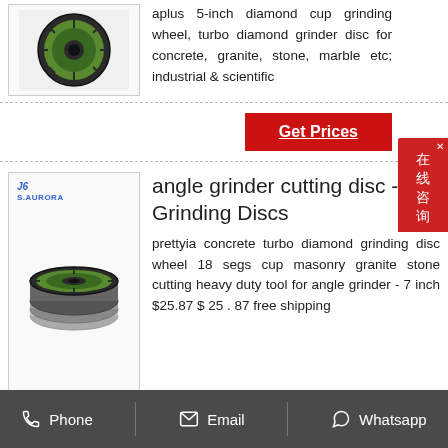[Figure (photo): Diamond cup grinding wheel product image - circular grinding disc with green and black design]
aplus 5-inch diamond cup grinding wheel, turbo diamond grinder disc for concrete, granite, stone, marble etc; industrial & scientific
[Figure (other): Red chat widget with Chinese characters 在线咨询 (online consultation) with X close button]
Get Prices
[Figure (photo): S.Aurora brand angle grinder cutting discs - stack of grinding discs with green design, logo visible]
angle grinder cutting disc - Grinding Discs
prettyia concrete turbo diamond grinding disc wheel 18 segs cup masonry granite stone cutting heavy duty tool for angle grinder - 7 inch $25.87 $ 25 . 87 free shipping
Phone  Email  Whatsapp